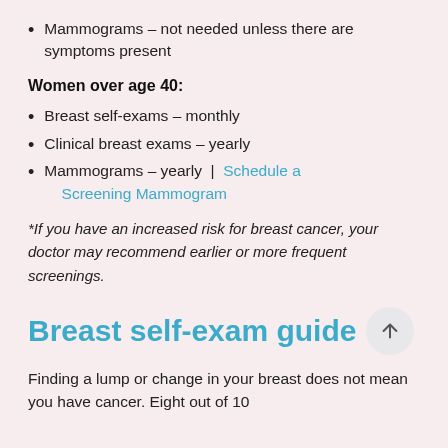Mammograms – not needed unless there are symptoms present
Women over age 40:
Breast self-exams – monthly
Clinical breast exams – yearly
Mammograms – yearly | Schedule a Screening Mammogram
*If you have an increased risk for breast cancer, your doctor may recommend earlier or more frequent screenings.
Breast self-exam guide
Finding a lump or change in your breast does not mean you have cancer. Eight out of 10